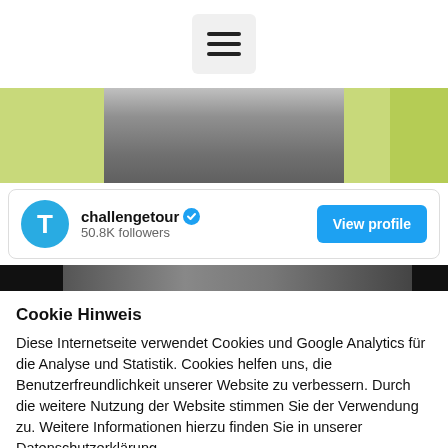[Figure (screenshot): Hamburger menu icon button (three horizontal lines) on white background]
[Figure (photo): Hero image showing a person's torso in gray shirt against yellow-green background]
[Figure (screenshot): Twitter/social media profile card for 'challengetour' with verified badge, 50.8K followers, and blue 'View profile' button]
[Figure (screenshot): Black strip with textured background below profile card]
Cookie Hinweis
Diese Internetseite verwendet Cookies und Google Analytics für die Analyse und Statistik. Cookies helfen uns, die Benutzerfreundlichkeit unserer Website zu verbessern. Durch die weitere Nutzung der Website stimmen Sie der Verwendung zu. Weitere Informationen hierzu finden Sie in unserer Datenschutzerklärung.
[Figure (screenshot): Two buttons: 'Cookie Einstellungen' (gray) and 'Alle akzeptieren' (green)]